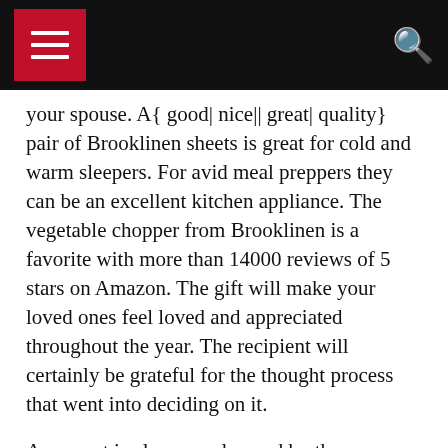[Navigation bar with hamburger menu and search icon]
your spouse. A{ good| nice|| great| quality} pair of Brooklinen sheets is great for cold and warm sleepers. For avid meal preppers they can be an excellent kitchen appliance. The vegetable chopper from Brooklinen is a favorite with more than 14000 reviews of 5 stars on Amazon. The gift will make your loved ones feel loved and appreciated throughout the year. The recipient will certainly be grateful for the thought process that went into deciding on it.
A new set is always welcomed by the person you love. A nice set of sheets can make your beloved rest in peace. It’s also an excellent idea to present a pair of new shoes to your significant other. A great pair of footwear could be a lovely Valentine’s gift for your spouse. A good pair